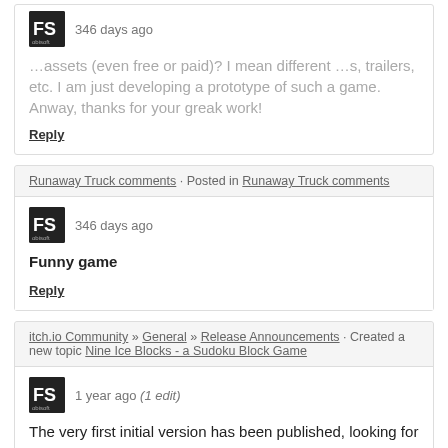… assets (even free or paid)? I mean different …s, trailers, etc. I am just developing a prototype of such a game. Anway, thanks for your greak work!
Reply
Runaway Truck comments · Posted in Runaway Truck comments
346 days ago
Funny game
Reply
itch.io Community » General » Release Announcements · Created a new topic Nine Ice Blocks - a Sudoku Block Game
1 year ago (1 edit)
The very first initial version has been published, looking for